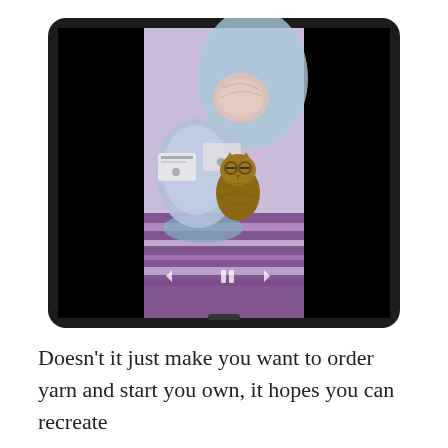[Figure (photo): A tablet device displaying a photo of colorful yarn skeins (blue, lavender, pink) with a small bronze owl figurine nestled among them, along with a purple and white knitted/woven textile. The tablet has a black bezel and the image is centered on the screen with black bars on left and right sides. Navigation arrows (left, pause, right) are visible at the bottom of the photo.]
Doesn't it just make you want to order yarn and start you own, it hopes you can recreate